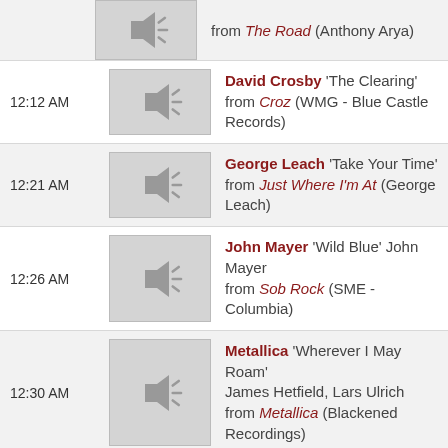(partial) from The Road (Anthony Arya)
12:12 AM — David Crosby 'The Clearing' from Croz (WMG - Blue Castle Records)
12:21 AM — George Leach 'Take Your Time' from Just Where I'm At (George Leach)
12:26 AM — John Mayer 'Wild Blue' John Mayer from Sob Rock (SME - Columbia)
12:30 AM — Metallica 'Wherever I May Roam' James Hetfield, Lars Ulrich from Metallica (Blackened Recordings)
12:32 AM — Cary Morin 'Broke Down Place' from Tiny Town (Cary Morin)